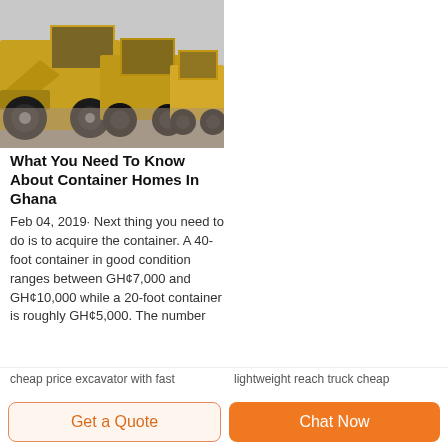[Figure (photo): Row of yellow construction wheel loaders/front-end loaders parked on a gravel lot]
What You Need To Know About Container Homes In Ghana
Feb 04, 2019· Next thing you need to do is to acquire the container. A 40-foot container in good condition ranges between GH¢7,000 and GH¢10,000 while a 20-foot container is roughly GH¢5,000. The number
cheap price excavator with fast
lightweight reach truck cheap